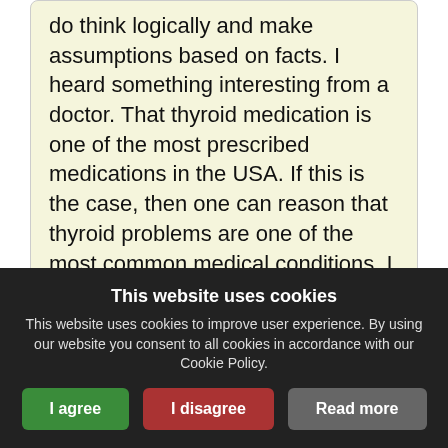do think logically and make assumptions based on facts. I heard something interesting from a doctor. That thyroid medication is one of the most prescribed medications in the USA. If this is the case, then one can reason that thyroid problems are one of the most common medical conditions. I also know that millions of people in the US ...
[retrieve this message]
Congratulations JUDY!!! by Joe25  19 years ago  2,957  Amalgam Support
This website uses cookies
This website uses cookies to improve user experience. By using our website you consent to all cookies in accordance with our Cookie Policy.
I agree | I disagree | Read more